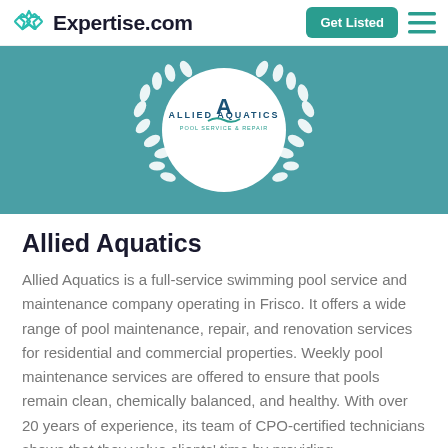Expertise.com
[Figure (logo): Allied Aquatics Pool Service & Repair logo inside a laurel wreath on a teal background banner]
Allied Aquatics
Allied Aquatics is a full-service swimming pool service and maintenance company operating in Frisco. It offers a wide range of pool maintenance, repair, and renovation services for residential and commercial properties. Weekly pool maintenance services are offered to ensure that pools remain clean, chemically balanced, and healthy. With over 20 years of experience, its team of CPO-certified technicians shows that they value clients' time by providing